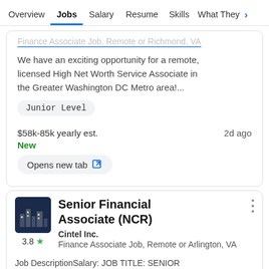Overview  Jobs  Salary  Resume  Skills  What They >
Finance Associate Job, Remote or Richmond, VA
We have an exciting opportunity for a remote, licensed High Net Worth Service Associate in the Greater Washington DC Metro area!...
Junior Level
$58k-85k yearly est.    2d ago
New
Opens new tab
Senior Financial Associate (NCR)
Cintel Inc.
Finance Associate Job, Remote or Arlington, VA
Job DescriptionSalary: JOB TITLE: SENIOR